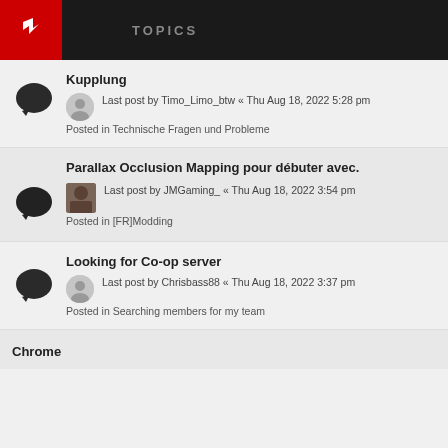TOPICS
Kupplung
Last post by Timo_Limo_btw « Thu Aug 18, 2022 5:28 pm
Posted in Technische Fragen und Probleme
Parallax Occlusion Mapping pour débuter avec.
Last post by JMGaming_ « Thu Aug 18, 2022 3:54 pm
Posted in [FR]Modding
Looking for Co-op server
Last post by Chrisbass88 « Thu Aug 18, 2022 3:37 pm
Posted in Searching members for my team
Chrome